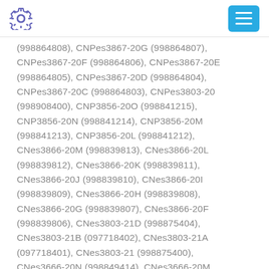[gear icon] [menu button]
(998864808), CNPes3867-20G (998864807), CNPes3867-20F (998864806), CNPes3867-20E (998864805), CNPes3867-20D (998864804), CNPes3867-20C (998864803), CNPes3803-20 (998908400), CNP3856-20O (998841215), CNP3856-20N (998841214), CNP3856-20M (998841213), CNP3856-20L (998841212), CNes3866-20M (998839813), CNes3866-20L (998839812), CNes3866-20K (998839811), CNes3866-20J (998839810), CNes3866-20I (998839809), CNes3866-20H (998839808), CNes3866-20G (998839807), CNes3866-20F (998839806), CNes3803-21D (998875404), CNes3803-21B (097718402), CNes3803-21A (097718401), CNes3803-21 (998875400), CNes3666-20N (998849414), CNes3666-20M (998849413), CNes3666-20L (998849412),